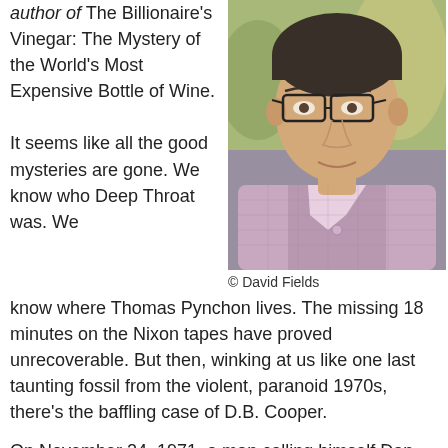author of The Billionaire's Vinegar: The Mystery of the World's Most Expensive Bottle of Wine.
[Figure (photo): Portrait photo of a man wearing glasses and a pink/purple checkered shirt, with a blurred outdoor background.]
© David Fields
It seems like all the good mysteries are gone. We know who Deep Throat was. We know where Thomas Pynchon lives. The missing 18 minutes on the Nixon tapes have proved unrecoverable. But then, winking at us like one last taunting fossil from the violent, paranoid 1970s, there's the baffling case of D.B. Cooper.
On November 24, 1971, a man calling himself Dan Cooper hijacked a Boeing 727, demanded $200,000 and parachutes, and jumped out over the Pacific